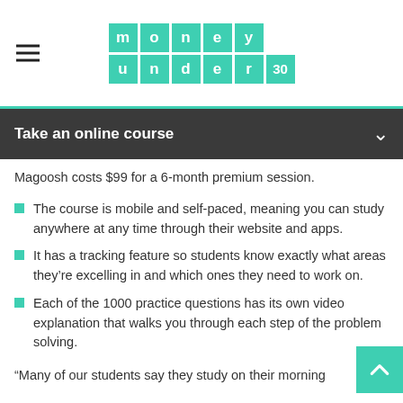money under 30 [logo]
Take an online course
Magoosh costs $99 for a 6-month premium session.
The course is mobile and self-paced, meaning you can study anywhere at any time through their website and apps.
It has a tracking feature so students know exactly what areas they’re excelling in and which ones they need to work on.
Each of the 1000 practice questions has its own video explanation that walks you through each step of the problem solving.
“Many of our students say they study on their morning